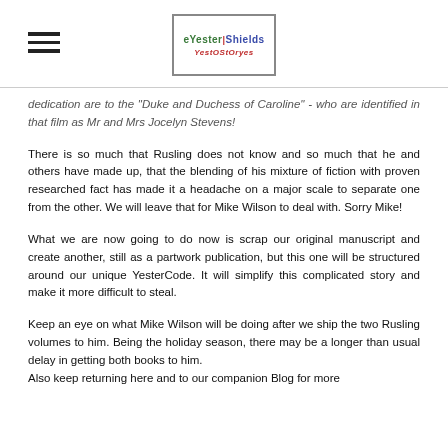[Hamburger menu icon] [YesterShields logo]
dedication are to the "Duke and Duchess of Caroline" - who are identified in that film as Mr and Mrs Jocelyn Stevens!
There is so much that Rusling does not know and so much that he and others have made up, that the blending of his mixture of fiction with proven researched fact has made it a headache on a major scale to separate one from the other. We will leave that for Mike Wilson to deal with. Sorry Mike!
What we are now going to do now is scrap our original manuscript and create another, still as a partwork publication, but this one will be structured around our unique YesterCode. It will simplify this complicated story and make it more difficult to steal.
Keep an eye on what Mike Wilson will be doing after we ship the two Rusling volumes to him. Being the holiday season, there may be a longer than usual delay in getting both books to him.
Also keep returning here and to our companion Blog for more